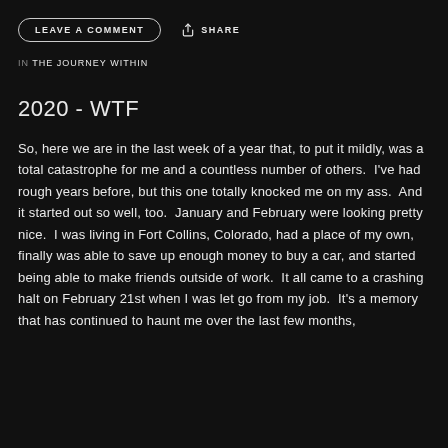LEAVE A COMMENT   SHARE
IN THE JOURNEY WITHIN
2020 - WTF
So, here we are in the last week of a year that, to put it mildly, was a total catastrophe for me and a countless number of others.  I've had rough years before, but this one totally knocked me on my ass.  And it started out so well, too.  January and February were looking pretty nice.  I was living in Fort Collins, Colorado, had a place of my own, finally was able to save up enough money to buy a car, and started being able to make friends outside of work.  It all came to a crashing halt on February 21st when I was let go from my job.  It's a memory that has continued to haunt me over the last few months,